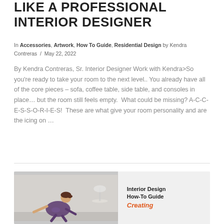LIKE A PROFESSIONAL INTERIOR DESIGNER
In Accessories, Artwork, How To Guide, Residential Design by Kendra Contreras / May 22, 2022
By Kendra Contreras, Sr. Interior Designer Work with Kendra>So you're ready to take your room to the next level.. You already have all of the core pieces – sofa, coffee table, side table, and consoles in place… but the room still feels empty.  What could be missing? A-C-C-E-S-S-O-R-I-E-S!  These are what give your room personality and are the icing on …
[Figure (photo): A child playing, with overlaid text reading 'Interior Design How-To Guide' and a red italic cursive text below it (partially visible).]